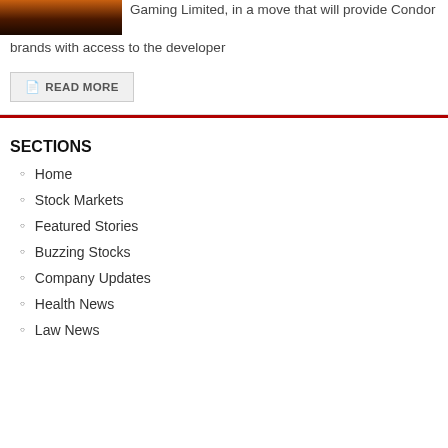[Figure (photo): Dark image with sunset/fire tones]
Gaming Limited, in a move that will provide Condor brands with access to the developer
READ MORE
SECTIONS
Home
Stock Markets
Featured Stories
Buzzing Stocks
Company Updates
Health News
Law News